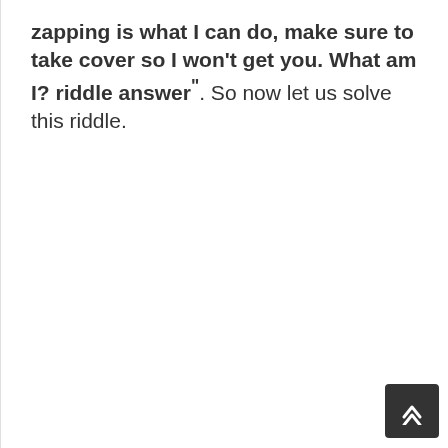zapping is what I can do, make sure to take cover so I won't get you. What am I? riddle answer". So now let us solve this riddle.